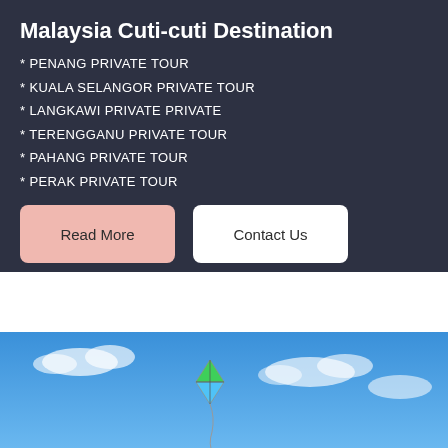Malaysia Cuti-cuti Destination
* PENANG PRIVATE TOUR
* KUALA SELANGOR PRIVATE TOUR
* LANGKAWI PRIVATE PRIVATE
* TERENGGANU PRIVATE TOUR
* PAHANG PRIVATE TOUR
* PERAK PRIVATE TOUR
Read More
Contact Us
[Figure (photo): A colorful kite flying in a blue sky with white clouds]